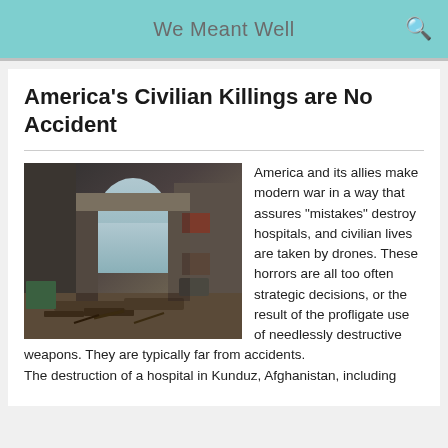We Meant Well
America’s Civilian Killings are No Accident
[Figure (photo): Destroyed building interior — bombed hospital corridor with rubble, collapsed ceilings, and debris on the floor; partially standing concrete columns visible]
America and its allies make modern war in a way that assures “mistakes” destroy hospitals, and civilian lives are taken by drones. These horrors are all too often strategic decisions, or the result of the profligate use of needlessly destructive weapons. They are typically far from accidents.
The destruction of a hospital in Kunduz, Afghanistan, including